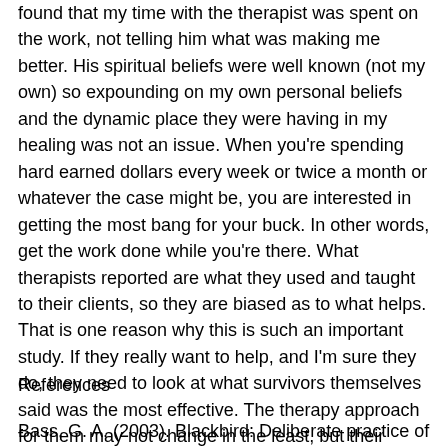found that my time with the therapist was spent on the work, not telling him what was making me better. His spiritual beliefs were well known (not my own) so expounding on my own personal beliefs and the dynamic place they were having in my healing was not an issue. When you're spending hard earned dollars every week or twice a month or whatever the case might be, you are interested in getting the most bang for your buck. In other words, get the work done while you're there. What therapists reported are what they used and taught to their clients, so they are biased as to what helps. That is one reason why this is such an important study. If they really want to help, and I'm sure they do, they need to look at what survivors themselves said was the most effective. The therapy approach for them may not change in the least, but their openness to hearing about other avenues may help the client move more quickly through healing if they are acknowledged.
References
Bass, G. A. (2003). Blackbird: Deliberate practice of multiple...